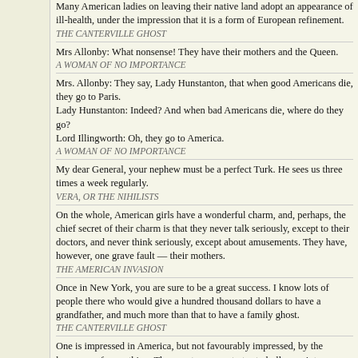Many American ladies on leaving their native land adopt an appearance of ill-health, under the impression that it is a form of European refinement.
THE CANTERVILLE GHOST
Mrs Allonby: What nonsense! They have their mothers and the Queen.
A WOMAN OF NO IMPORTANCE
Mrs. Allonby: They say, Lady Hunstanton, that when good Americans die, they go to Paris.
Lady Hunstanton: Indeed? And when bad Americans die, where do they go?
Lord Illingworth: Oh, they go to America.
A WOMAN OF NO IMPORTANCE
My dear General, your nephew must be a perfect Turk. He sees us three times a week regularly.
VERA, OR THE NIHILISTS
On the whole, American girls have a wonderful charm, and, perhaps, the chief secret of their charm is that they never talk seriously, except to their doctors, and never think seriously, except about amusements. They have, however, one grave fault — their mothers.
THE AMERICAN INVASION
Once in New York, you are sure to be a great success. I know lots of people there who would give a hundred thousand dollars to have a grandfather, and much more than that to have a family ghost.
THE CANTERVILLE GHOST
One is impressed in America, but not favourably impressed, by the largeness of everything. The country seems to try to bully one into a belief in its greatness by its impressive bigness.
IMPRESSIONS OF AMERICA
Salt Lake City contains only two buildings of note, the chief being the Tabernacle, which is the shape of a soup-kettle.
IMPRESSIONS OF AMERICA
The actual people who live in Japan are not unlike the general run of English people;